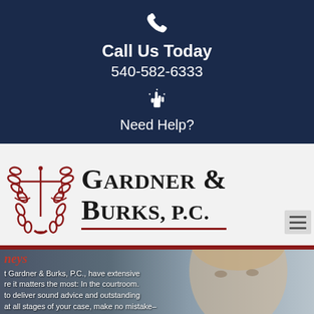📞
Call Us Today
540-582-6333
[Figure (logo): Hand pointer icon]
Need Help?
[Figure (logo): Gardner & Burks, P.C. law firm logo with scales of justice emblem in red and black]
[Figure (photo): Close-up photo of a man's face, partially visible, used as background for attorney section]
t Gardner & Burks, P.C., have extensive re it matters the most: In the courtroom. to deliver sound advice and outstanding at all stages of your case, make no mistake-- foremost trial attorneys, who have worked